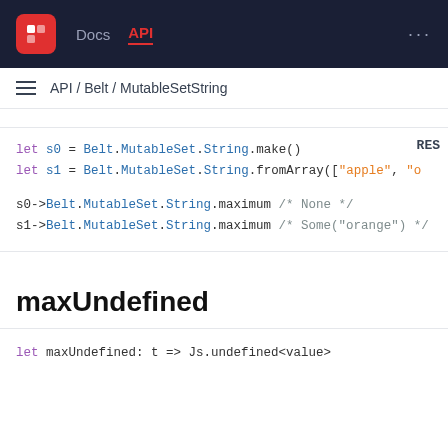Docs  API
API / Belt / MutableSetString
let s0 = Belt.MutableSet.String.make()
let s1 = Belt.MutableSet.String.fromArray(["apple", "o..."
s0->Belt.MutableSet.String.maximum /* None */
s1->Belt.MutableSet.String.maximum /* Some("orange") */
maxUndefined
let maxUndefined: t => Js.undefined<value>